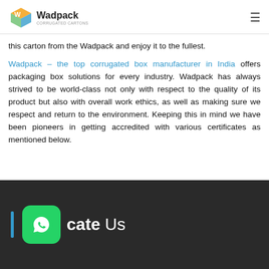Wadpack
this carton from the Wadpack and enjoy it to the fullest.
Wadpack – the top corrugated box manufacturer in India offers packaging box solutions for every industry. Wadpack has always strived to be world-class not only with respect to the quality of its product but also with overall work ethics, as well as making sure we respect and return to the environment. Keeping this in mind we have been pioneers in getting accredited with various certificates as mentioned below.
cate Us